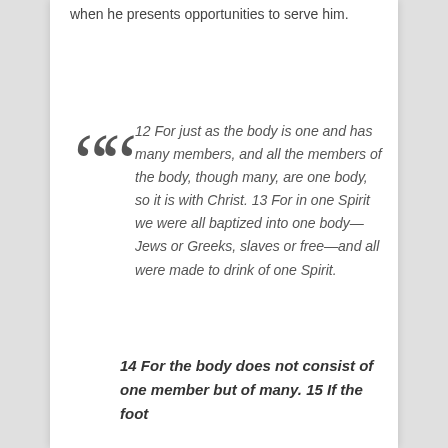when he presents opportunities to serve him.
12 For just as the body is one and has many members, and all the members of the body, though many, are one body, so it is with Christ. 13 For in one Spirit we were all baptized into one body—Jews or Greeks, slaves or free—and all were made to drink of one Spirit.
14 For the body does not consist of one member but of many. 15 If the foot...